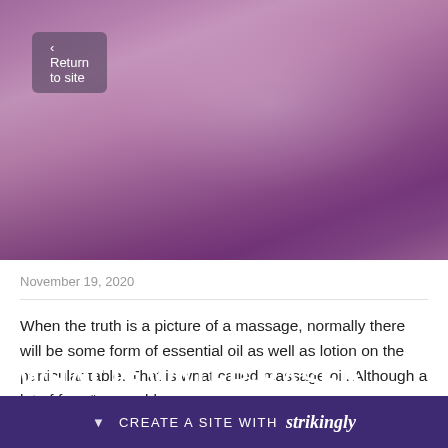[Figure (photo): Purple and pink blurred gradient hero background image for blog post header]
< Return to site
WHAT IS WATER-BASED MASSAGE?
November 19, 2020
When the truth is a picture of a massage, normally there will be some form of essential oil as well as lotion on the particular table. That is what called massage oil. Although a lot of fo… "mas… ble
[Figure (screenshot): Strikingly website builder promotional banner at bottom: CREATE A SITE WITH strikingly]